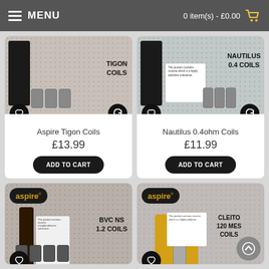MENU   0 item(s) - £0.00
[Figure (photo): Product image for Aspire Tigon Coils with coil accessories shown]
Aspire Tigon Coils
£13.99
ADD TO CART
[Figure (photo): Product image for Nautilus 0.4ohm Coils with multiple coils displayed]
Nautilus 0.4ohm Coils
£11.99
ADD TO CART
[Figure (photo): Product image for Aspire BVC NS 1.2 Coils with aspire logo]
[Figure (photo): Product image for Cleito 120 Mesh Coils with aspire branding]